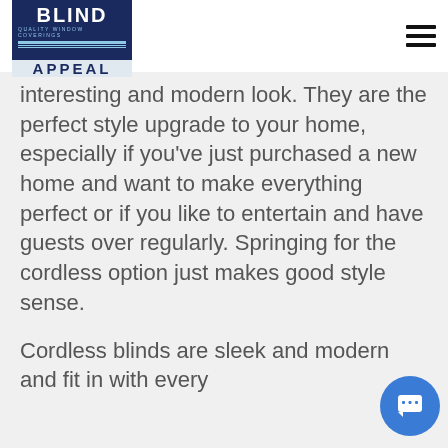[Figure (logo): Blind Appeal quality window coverings logo — navy blue box with BLIND in white and APPEAL in dark text on light band]
[Figure (other): Hamburger menu icon (three horizontal lines)]
interesting and modern look. They are the perfect style upgrade to your home, especially if you've just purchased a new home and want to make everything perfect or if you like to entertain and have guests over regularly. Springing for the cordless option just makes good style sense.
Cordless blinds are sleek and modern and fit in with every
[Figure (other): Blue circular chat button with message icon]